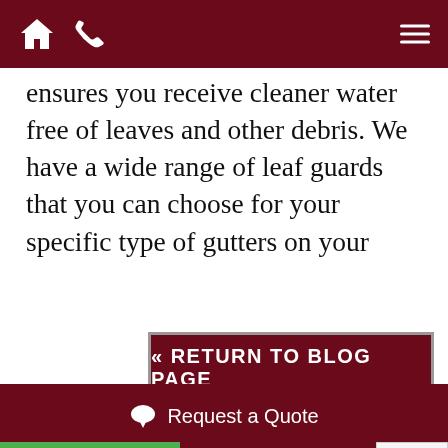Navigation bar with home icon, phone icon, and hamburger menu
ensures you receive cleaner water free of leaves and other debris. We have a wide range of leaf guards that you can choose for your specific type of gutters on your properties. We install messed dome guards that help rainwater pass freely to the collecting tank while leaving the solid debris atop the meshed dome.
« RETURN TO BLOG PAGE
Trusted Reviews
Request a Quote